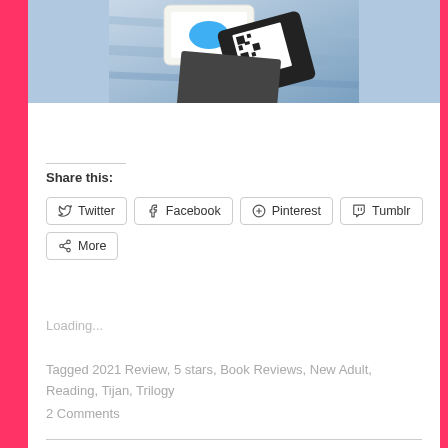[Figure (photo): Partial photo of smartphones/mobile devices on a blue surface, cropped at top]
Share this:
Twitter
Facebook
Pinterest
Tumblr
More
Loading...
Tagged 2021 Review, 5 stars, Book Reviews, New Adult, Reading, Tijan, Trilogy
2 Comments